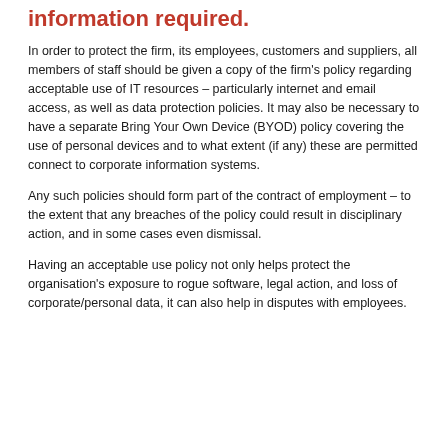information required.
In order to protect the firm, its employees, customers and suppliers, all members of staff should be given a copy of the firm's policy regarding acceptable use of IT resources – particularly internet and email access, as well as data protection policies. It may also be necessary to have a separate Bring Your Own Device (BYOD) policy covering the use of personal devices and to what extent (if any) these are permitted connect to corporate information systems.
Any such policies should form part of the contract of employment – to the extent that any breaches of the policy could result in disciplinary action, and in some cases even dismissal.
Having an acceptable use policy not only helps protect the organisation's exposure to rogue software, legal action, and loss of corporate/personal data, it can also help in disputes with employees.